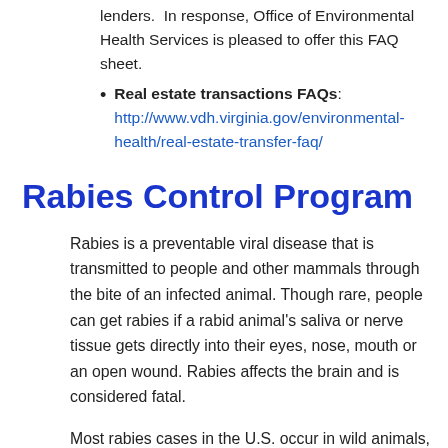lenders.  In response, Office of Environmental Health Services is pleased to offer this FAQ sheet.
Real estate transactions FAQs: http://www.vdh.virginia.gov/environmental-health/real-estate-transfer-faq/
Rabies Control Program
Rabies is a preventable viral disease that is transmitted to people and other mammals through the bite of an infected animal. Though rare, people can get rabies if a rabid animal's saliva or nerve tissue gets directly into their eyes, nose, mouth or an open wound. Rabies affects the brain and is considered fatal.
Most rabies cases in the U.S. occur in wild animals,